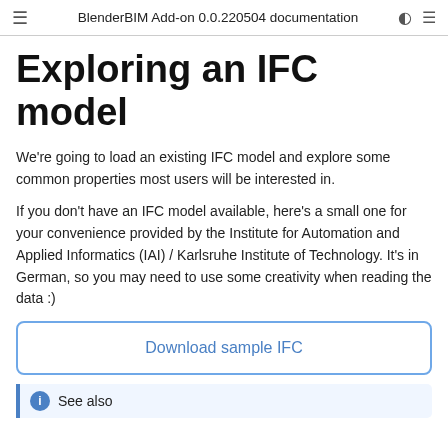BlenderBIM Add-on 0.0.220504 documentation
Exploring an IFC model
We're going to load an existing IFC model and explore some common properties most users will be interested in.
If you don't have an IFC model available, here's a small one for your convenience provided by the Institute for Automation and Applied Informatics (IAI) / Karlsruhe Institute of Technology. It's in German, so you may need to use some creativity when reading the data :)
Download sample IFC
See also